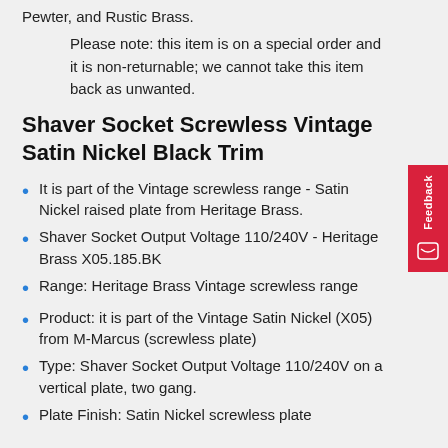Pewter, and Rustic Brass.
Please note: this item is on a special order and it is non-returnable; we cannot take this item back as unwanted.
Shaver Socket Screwless Vintage Satin Nickel Black Trim
It is part of the Vintage screwless range - Satin Nickel raised plate from Heritage Brass.
Shaver Socket Output Voltage 110/240V - Heritage Brass X05.185.BK
Range: Heritage Brass Vintage screwless range
Product: it is part of the Vintage Satin Nickel (X05) from M-Marcus (screwless plate)
Type: Shaver Socket Output Voltage 110/240V on a vertical plate, two gang.
Plate Finish: Satin Nickel screwless plate